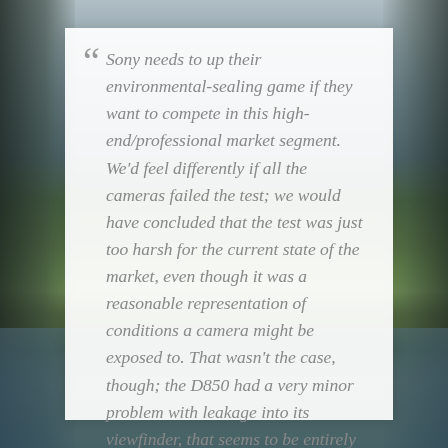[Figure (photo): Background landscape photo showing mountains, lake/water, and natural scenery with dark edges on left and right sides]
“ Sony needs to up their environmental-sealing game if they want to compete in this high-end/professional market segment. We’d feel differently if all the cameras failed the test; we would have concluded that the test was just too harsh for the current state of the market, even though it was a reasonable representation of conditions a camera might be exposed to. That wasn’t the case, though; the D850 had a very minor problem with leakage into its viewfinder, that seems to be entirely solved